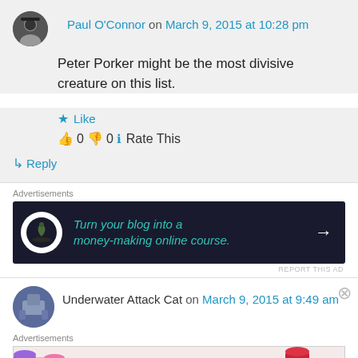Paul O'Connor on March 9, 2015 at 10:28 pm
Peter Porker might be the most divisive creature on this list.
★ Like
👍 0 👎 0 ℹ Rate This
↳ Reply
[Figure (infographic): Advertisement banner: dark navy background with bonsai tree icon in white circle, green italic text 'Turn your blog into a money-making online course.' with white arrow pointing right]
REPORT THIS AD
Underwater Attack Cat on March 9, 2015 at 9:49 am
[Figure (infographic): Advertisement banner showing MAC lipsticks in purple, peach, and pink with MAC logo and 'SHOP NOW' text in a bordered box, red lipstick on right]